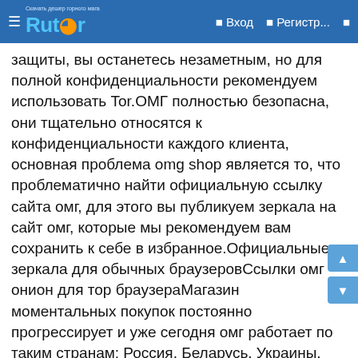Rutor — Вход — Регистр...
защиты, вы останетесь незаметным, но для полной конфиденциальности рекомендуем использовать Tor.ОМГ полностью безопасна, они тщательно относятся к конфиденциальности каждого клиента, основная проблема omg shop является то, что проблематично найти официальную ссылку сайта омг, для этого вы публикуем зеркала на сайт омг, которые мы рекомендуем вам сохранить к себе в избранное.Официальные зеркала для обычных браузеровСсылки омг онион для тор браузераМагазин моментальных покупок постоянно прогрессирует и уже сегодня омг работает по таким странам: Россия, Беларусь, Украины, Казахстана. Мы расширяемся и планируем расти дальше.Популярные города: Краснодар, Санкт-Петербург, Минск, Казань, Астрахань, Томск, Астана, Пермь, Киев, Харьков, Москва, Ростов-на-Дону, Иркутск, Тамбов, Нурсултан, Красноярск, Владивосток.Темный магазин работает по принципы автоматических продаж, вы можете приобрести то, что пожелаете в любое время суток и не нужно ждать продавца